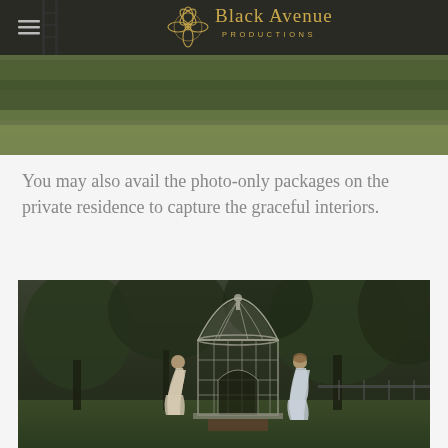[Figure (photo): Black Avenue Productions website header with logo, hamburger menu, and garden/greenery background photo]
You may also avail the photo-only packages on the private residence to capture the graceful interiors.
[Figure (photo): Outdoor garden photo showing two women in elegant dresses near an ornate white gazebo/birdcage structure surrounded by trees]